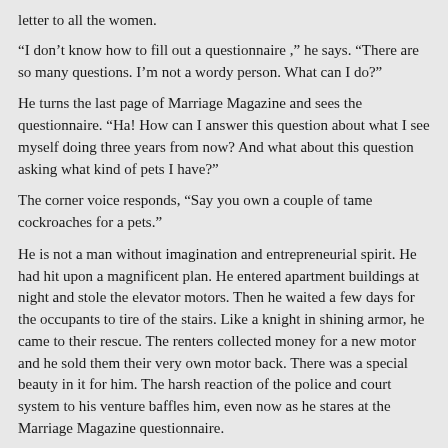letter to all the women.
“I don’t know how to fill out a questionnaire ,” he says. “There are so many questions. I’m not a wordy person. What can I do?”
He turns the last page of Marriage Magazine and sees the questionnaire. “Ha! How can I answer this question about what I see myself doing three years from now? And what about this question asking what kind of pets I have?”
The corner voice responds, “Say you own a couple of tame cockroaches for a pets.”
He is not a man without imagination and entrepreneurial spirit. He had hit upon a magnificent plan. He entered apartment buildings at night and stole the elevator motors. Then he waited a few days for the occupants to tire of the stairs. Like a knight in shining armor, he came to their rescue. The renters collected money for a new motor and he sold them their very own motor back. There was a special beauty in it for him. The harsh reaction of the police and court system to his venture baffles him, even now as he stares at the Marriage Magazine questionnaire.
He stands, takes a breath, seals an envelope , and flips through more pages of personal ads. He looks at the photo of a smiling